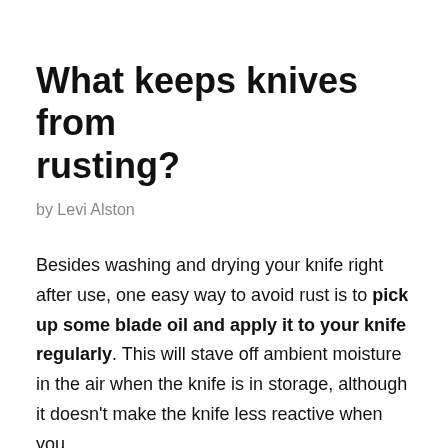What keeps knives from rusting?
by Levi Alston
Besides washing and drying your knife right after use, one easy way to avoid rust is to pick up some blade oil and apply it to your knife regularly. This will stave off ambient moisture in the air when the knife is in storage, although it doesn't make the knife less reactive when you